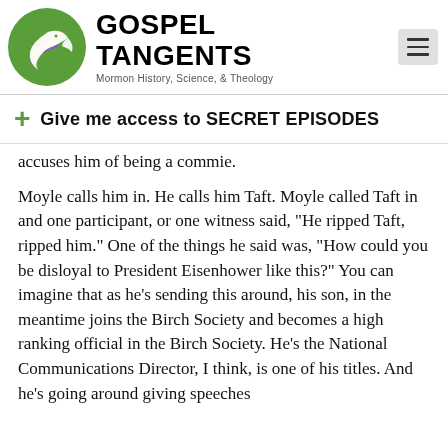[Figure (logo): Gospel Tangents logo — green circle with a white dove/wing icon and colorful streaks, next to bold text 'GOSPEL TANGENTS' with subtitle 'Mormon History, Science, & Theology']
+ Give me access to SECRET EPISODES
accuses him of being a commie.
Moyle calls him in. He calls him Taft. Moyle called Taft in and one participant, or one witness said, "He ripped Taft, ripped him." One of the things he said was, "How could you be disloyal to President Eisenhower like this?" You can imagine that as he's sending this around, his son, in the meantime joins the Birch Society and becomes a high ranking official in the Birch Society. He's the National Communications Director, I think, is one of his titles. And he's going around giving speeches to Birch audiences about his idol, bla bla...